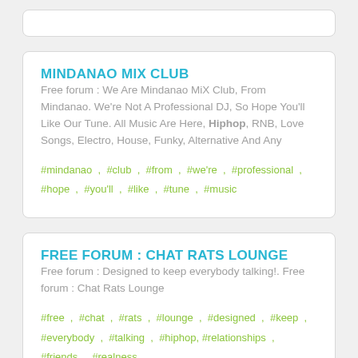MINDANAO MIX CLUB
Free forum : We Are Mindanao MiX Club, From Mindanao. We're Not A Professional DJ, So Hope You'll Like Our Tune. All Music Are Here, Hiphop, RNB, Love Songs, Electro, House, Funky, Alternative And Any
#mindanao , #club , #from , #we're , #professional , #hope , #you'll , #like , #tune , #music
FREE FORUM : CHAT RATS LOUNGE
Free forum : Designed to keep everybody talking!. Free forum : Chat Rats Lounge
#free , #chat , #rats , #lounge , #designed , #keep , #everybody , #talking , #hiphop, #relationships , #friends , #realness